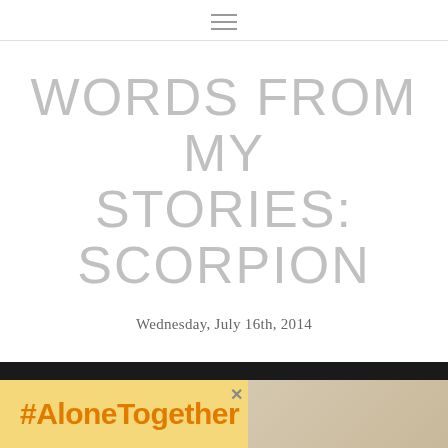≡
WORDS FROM MY STORIES: SCORPION
Wednesday, July 16th, 2014
This is a small excerpt from the short story Scorpion, available as part of the book Shy Feet: Short Stories Inspired by Travel .
[Figure (infographic): #AloneTogether advertisement banner with orange text on yellow background, with an image of a person on the right side and a close button]